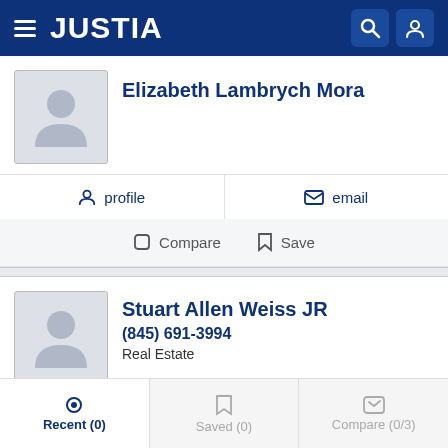[Figure (screenshot): Justia website navigation bar with hamburger menu, JUSTIA logo, search icon, and user icon on dark blue background]
Elizabeth Lambrych Mora
profile   email
Compare   Save
Stuart Allen Weiss JR
(845) 691-3994
Real Estate
profile
Recent (0)   Saved (0)   Compare (0/3)